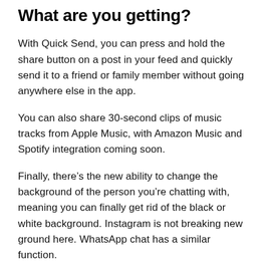What are you getting?
With Quick Send, you can press and hold the share button on a post in your feed and quickly send it to a friend or family member without going anywhere else in the app.
You can also share 30-second clips of music tracks from Apple Music, with Amazon Music and Spotify integration coming soon.
Finally, there’s the new ability to change the background of the person you’re chatting with, meaning you can finally get rid of the black or white background. Instagram is not breaking new ground here. WhatsApp chat has a similar function.
But while some may think these are minor updates